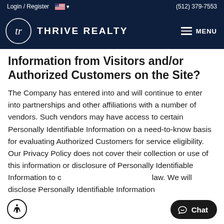Login / Register  🇺🇸 ▾   (512) 379-7553
[Figure (logo): Thrive Realty logo with circular script 'tr' monogram and text 'THRIVE REALTY' on dark navy background, with hamburger MENU icon on right]
Information from Visitors and/or Authorized Customers on the Site?
The Company has entered into and will continue to enter into partnerships and other affiliations with a number of vendors. Such vendors may have access to certain Personally Identifiable Information on a need-to-know basis for evaluating Authorized Customers for service eligibility. Our Privacy Policy does not cover their collection or use of this information or disclosure of Personally Identifiable Information to c... law. We will disclose Personally Identifiable Information